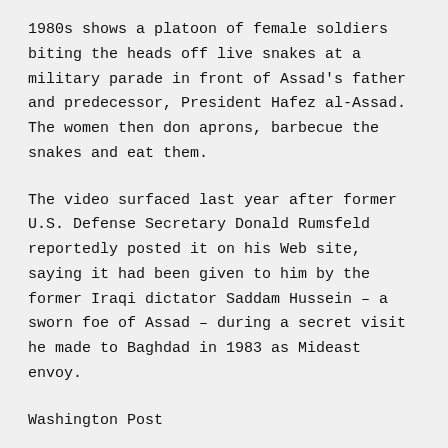1980s shows a platoon of female soldiers biting the heads off live snakes at a military parade in front of Assad's father and predecessor, President Hafez al-Assad. The women then don aprons, barbecue the snakes and eat them.
The video surfaced last year after former U.S. Defense Secretary Donald Rumsfeld reportedly posted it on his Web site, saying it had been given to him by the former Iraqi dictator Saddam Hussein – a sworn foe of Assad – during a secret visit he made to Baghdad in 1983 as Mideast envoy.
Washington Post